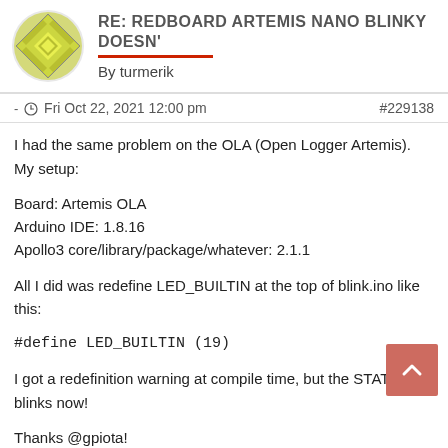RE: REDBOARD ARTEMIS NANO BLINKY DOESN'T
By turmerik
- Fri Oct 22, 2021 12:00 pm   #229138
I had the same problem on the OLA (Open Logger Artemis). My setup:
Board: Artemis OLA
Arduino IDE: 1.8.16
Apollo3 core/library/package/whatever: 2.1.1
All I did was redefine LED_BUILTIN at the top of blink.ino like this:
#define LED_BUILTIN (19)
I got a redefinition warning at compile time, but the STAT LED blinks now!
Thanks @gpiota!